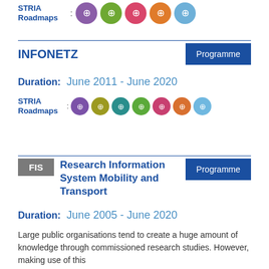STRIA Roadmaps :
[Figure (illustration): Row of 5 colorful circular STRIA Roadmap icons (purple, green, pink/red, orange, blue)]
INFONETZ
Programme
Duration: June 2011 - June 2020
STRIA Roadmaps :
[Figure (illustration): Row of 7 colorful circular STRIA Roadmap icons (purple, olive, teal, green, pink, orange, light blue)]
FIS Research Information System Mobility and Transport
Programme
Duration: June 2005 - June 2020
Large public organisations tend to create a huge amount of knowledge through commissioned research studies. However, making use of this